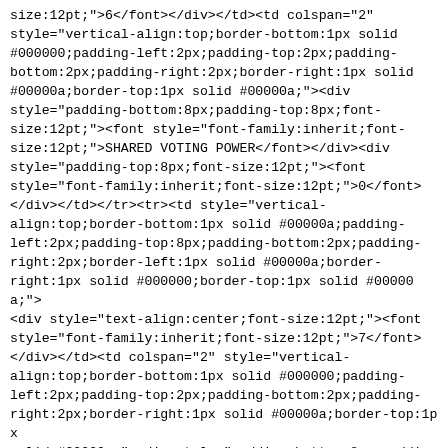size:12pt;">6</font></div></td><td colspan="2" style="vertical-align:top;border-bottom:1px solid #000000;padding-left:2px;padding-top:2px;padding-bottom:2px;padding-right:2px;border-right:1px solid #00000a;border-top:1px solid #00000a;"><div style="padding-bottom:8px;padding-top:8px;font-size:12pt;"><font style="font-family:inherit;font-size:12pt;">SHARED VOTING POWER</font></div><div style="padding-top:8px;font-size:12pt;"><font style="font-family:inherit;font-size:12pt;">0</font></div></td></tr><tr><td style="vertical-align:top;border-bottom:1px solid #00000a;padding-left:2px;padding-top:8px;padding-bottom:2px;padding-right:2px;border-left:1px solid #00000a;border-right:1px solid #000000;border-top:1px solid #00000a;"><div style="text-align:center;font-size:12pt;"><font style="font-family:inherit;font-size:12pt;">7</font></div></td><td colspan="2" style="vertical-align:top;border-bottom:1px solid #000000;padding-left:2px;padding-top:2px;padding-bottom:2px;padding-right:2px;border-right:1px solid #00000a;border-top:1px solid #00000a;"><div style="padding-bottom:8px;padding-top:8px;font-size:12pt;"><font style="font-family:inherit;font-size:12pt;">SOLE DISPOSITIVE POWER</font></div><div style="padding-top:8px;font-size:12pt;"><font style="font-family:inherit;font-size:12pt;">9,000,645</font></div></td></tr><tr><td style="vertical-align:top;border-bottom:1px solid #00000a;padding-left:2px;padding-top:8px;padding-bottom:2px;padding-right:2px;border-left:1px solid #00000a;